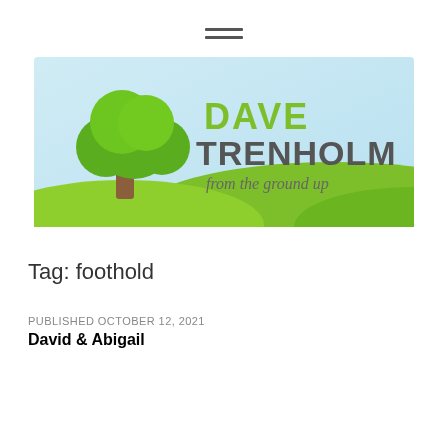[Figure (logo): Hamburger menu icon with three horizontal lines]
[Figure (logo): Dave Trenholm 'from the ground up' logo banner with a illustrated tree on light blue background with green hills]
Tag: foothold
PUBLISHED OCTOBER 12, 2021
David & Abigail